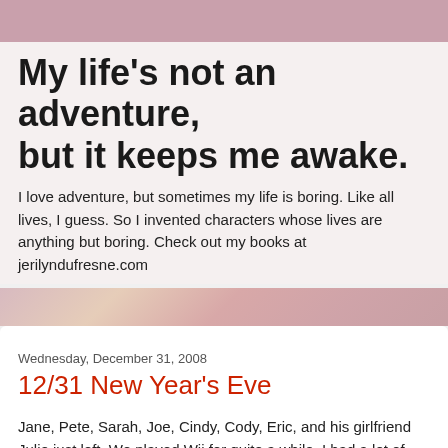My life's not an adventure, but it keeps me awake.
I love adventure, but sometimes my life is boring. Like all lives, I guess. So I invented characters whose lives are anything but boring. Check out my books at jerilyndufresne.com
Wednesday, December 31, 2008
12/31 New Year's Eve
Jane, Pete, Sarah, Joe, Cindy, Cody, Eric, and his girlfriend Julie just left. We played Wii for quite a while. I had a lot of fun, especially making fun of everyone. My animals are up late, so I hope they let me sleep in the morning.
Happy new year everyone. Just 50 minutes in advance.